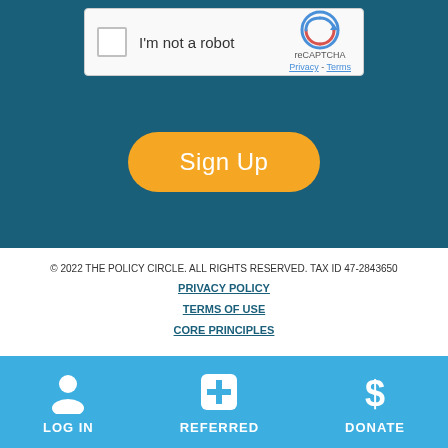[Figure (screenshot): reCAPTCHA widget with checkbox labeled 'I'm not a robot' and reCAPTCHA logo with Privacy and Terms links]
Sign Up
© 2022 THE POLICY CIRCLE. ALL RIGHTS RESERVED. TAX ID 47-2843650
PRIVACY POLICY
TERMS OF USE
CORE PRINCIPLES
LOG IN
REFERRED
DONATE